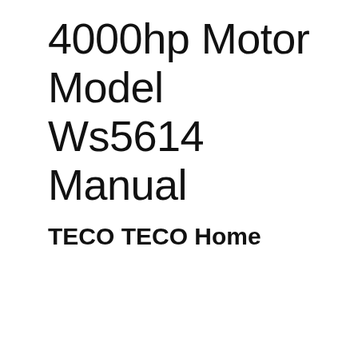4000hp Motor Model Ws5614 Manual
TECO TECO Home